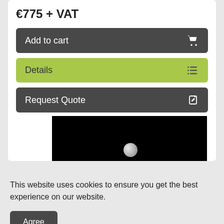€775 + VAT
Add to cart
Details
Request Quote
[Figure (photo): Dark/black background with a metallic grey rounded object visible at the bottom center]
This website uses cookies to ensure you get the best experience on our website.
Agree